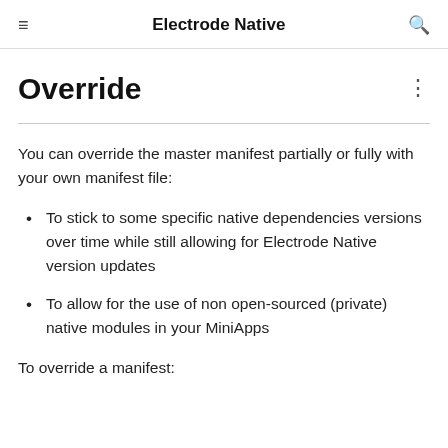Electrode Native
Override
You can override the master manifest partially or fully with your own manifest file:
To stick to some specific native dependencies versions over time while still allowing for Electrode Native version updates
To allow for the use of non open-sourced (private) native modules in your MiniApps
To override a manifest: